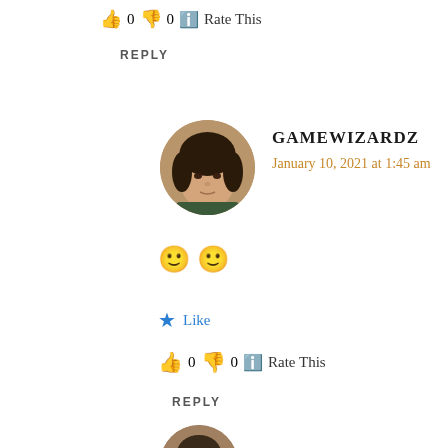👍 0 👎 0 ℹ️ Rate This
REPLY
[Figure (photo): Circular avatar photo of GAMEWIZARDZ user — a young person with dark hair]
GAMEWIZARDZ
January 10, 2021 at 1:45 am
🙂 🙂
★ Like
👍 0 👎 0 ℹ️ Rate This
REPLY
[Figure (photo): Partial circular avatar photo at bottom of page]